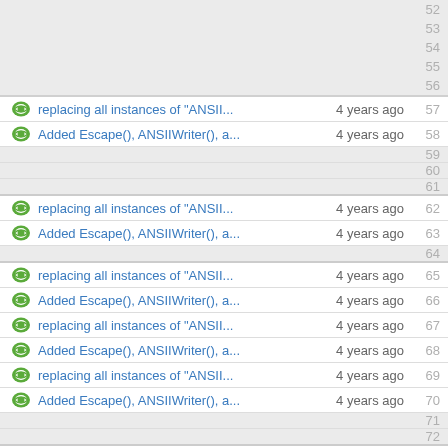52
53
54
55
56
replacing all instances of "ANSII... 4 years ago  57
Added Escape(), ANSIIWriter(), a... 4 years ago  58
59
60
61
replacing all instances of "ANSII... 4 years ago  62
Added Escape(), ANSIIWriter(), a... 4 years ago  63
64
replacing all instances of "ANSII... 4 years ago  65
Added Escape(), ANSIIWriter(), a... 4 years ago  66
replacing all instances of "ANSII... 4 years ago  67
Added Escape(), ANSIIWriter(), a... 4 years ago  68
replacing all instances of "ANSII... 4 years ago  69
Added Escape(), ANSIIWriter(), a... 4 years ago  70
71
72
replacing all instances of "ANSII... 4 years ago  73